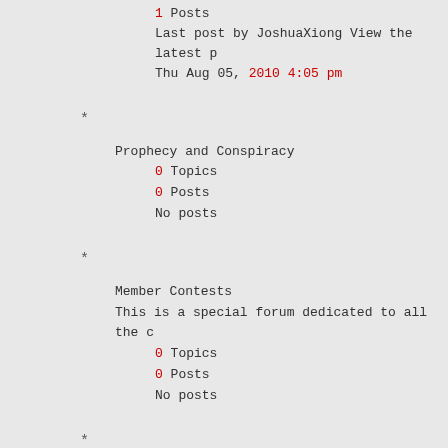1 Posts
Last post by JoshuaXiong View the latest p
Thu Aug 05, 2010 4:05 pm
*
Prophecy and Conspiracy
0 Topics
0 Posts
No posts
*
Member Contests
This is a special forum dedicated to all the c
0 Topics
0 Posts
No posts
*
Shopping Deals
Are you looking for that awesome discount or c
1 Topics
1 Posts